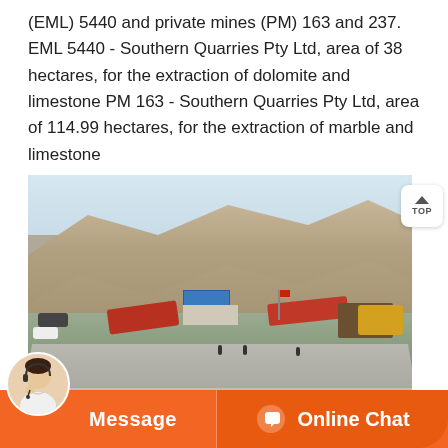(EML) 5440 and private mines (PM) 163 and 237. EML 5440 - Southern Quarries Pty Ltd, area of 38 hectares, for the extraction of dolomite and limestone PM 163 - Southern Quarries Pty Ltd, area of 114.99 hectares, for the extraction of marble and limestone
[Figure (photo): Aerial view of a quarry mining operation showing rocky hillside terrain, conveyor belts and crushing machinery, a blue-roofed building, yellow loader equipment, workers on the ground, and a road. Mining site with industrial equipment in a rocky landscape.]
Message
Online Chat